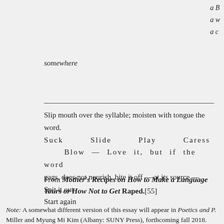a B
a w
a c
somewhere
Slip mouth over the syllable; moisten with tongue the word.
Suck    Slide    Play    Caress    Blow — Love it, but if the word
gags, does not nourish, bite it off — at its source —
Spit it out
Start again
From Mother's Recipes on How to Make a Language Yours or How Not to Get Raped.[55]
Note: A somewhat different version of this essay will appear in Poetics and P. Miller and Myung Mi Kim (Albany: SUNY Press), forthcoming fall 2018.